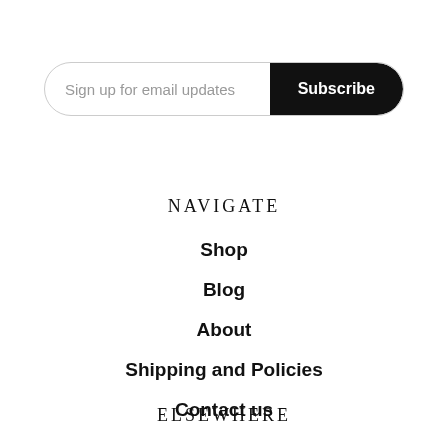[Figure (screenshot): Email subscription bar with placeholder text 'Sign up for email updates' and a black 'Subscribe' button on the right]
NAVIGATE
Shop
Blog
About
Shipping and Policies
Contact us
ELSEWHERE